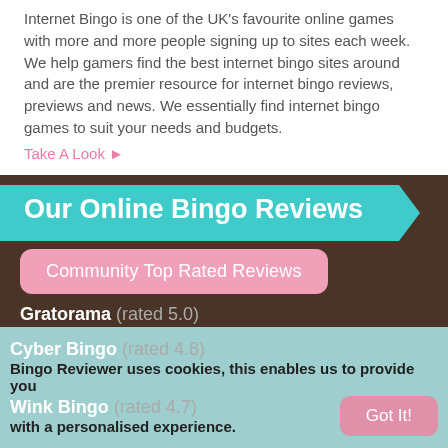Internet Bingo is one of the UK's favourite online games with more and more people signing up to sites each week. We help gamers find the best internet bingo sites around and are the premier resource for internet bingo reviews, previews and news. We essentially find internet bingo games to suit your needs and budgets.
Take A Look ►
Our Online Bingo Reviews
Community Top Rated Reviews
Gratorama (rated 5.0)
Nutty Bingo (rated 4.9)
Butlers Bingo (rated 4.9)
City Bingo (rated 4.8)
Cyber Bingo (rated 4.8)
Wink Bingo (rated 4.7)
Bingo Reviewer uses cookies, this enables us to provide you with a personalised experience.